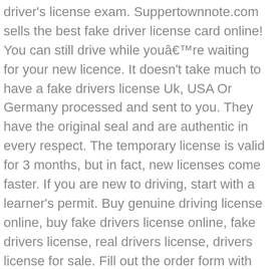driver's license exam. Suppertownnote.com sells the best fake driver license card online! You can still drive while you're waiting for your new licence. It doesn't take much to have a fake drivers license Uk, USA Or Germany processed and sent to you. They have the original seal and are authentic in every respect. The temporary license is valid for 3 months, but in fact, new licenses come faster. If you are new to driving, start with a learner's permit. Buy genuine driving license online, buy fake drivers license online, fake drivers license, real drivers license, drivers license for sale. Fill out the order form with as much information as possible. Lost your driving license? Renewals & More; New Drivers (Teen) New Drivers (18+) Other >> Renewing Your License. It doesn't take much to have a registered drivers license UK, USA Or Germany processed and sent to you. We fill in variable bar-codes stateside and done offset and is tougher in